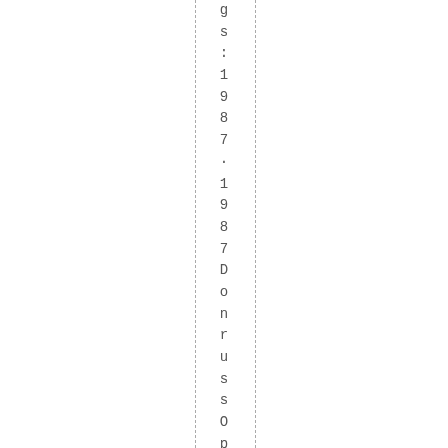gs : 1987 · 1987DonrussOpening